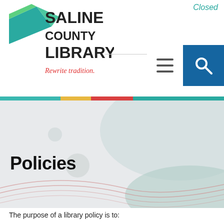Closed
[Figure (logo): Saline County Library logo with geometric arrow/diamond shape and tagline 'Rewrite tradition.']
[Figure (infographic): Hero banner with abstract wave shapes in light blue, teal, and red/pink colors on a light grey background]
Policies
The purpose of a library policy is to:
Establish a framework through which effective, efficient and dynamic library and information services can be  developed, managed and